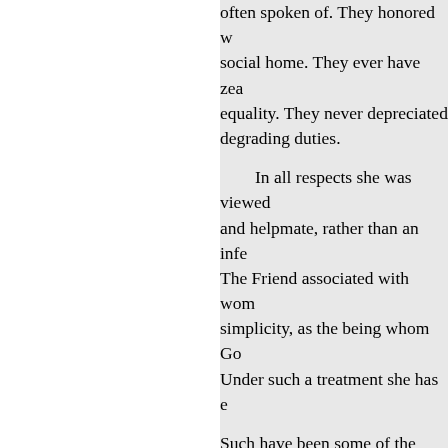often spoken of. They honored w social home. They ever have zea equality. They never depreciated degrading duties.
In all respects she was viewed and helpmate, rather than an infe The Friend associated with wom simplicity, as the being whom Go Under such a treatment she has e
Such have been some of the bles great ideas and some valued righ generous toleration, are the glory progressive age?
In view of these great substant characterized the followers of Fo of speech ; even opposition to ma peculiarities will probably pass a they
defend. These were not uppermo and more enduring, even the reli principles in vain. Their ideas, in is truly great in them will live fo